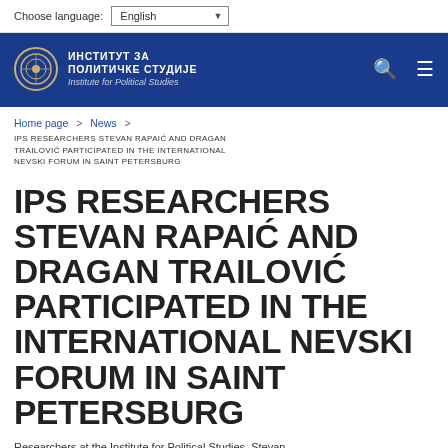Choose language: English
[Figure (logo): Institute for Political Studies logo with Cyrillic text ИНСТИТУТ ЗА ПОЛИТИЧКЕ СТУДИЈЕ and English subtitle Institute for Political Studies on dark blue background]
Home page > News
IPS RESEARCHERS STEVAN RAPAIĆ AND DRAGAN TRAILOVIĆ PARTICIPATED IN THE INTERNATIONAL NEVSKI FORUM IN SAINT PETERSBURG
IPS RESEARCHERS STEVAN RAPAIĆ AND DRAGAN TRAILOVIĆ PARTICIPATED IN THE INTERNATIONAL NEVSKI FORUM IN SAINT PETERSBURG
Researchers at the Institute for Political Studies, Stevan